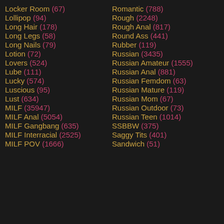Locker Room (67)
Lollipop (94)
Long Hair (178)
Long Legs (58)
Long Nails (79)
Lotion (72)
Lovers (524)
Lube (111)
Lucky (574)
Luscious (95)
Lust (634)
MILF (35947)
MILF Anal (5054)
MILF Gangbang (635)
MILF Interracial (2525)
MILF POV (1666)
Romantic (788)
Rough (2248)
Rough Anal (817)
Round Ass (441)
Rubber (119)
Russian (3435)
Russian Amateur (1555)
Russian Anal (881)
Russian Femdom (63)
Russian Mature (119)
Russian Mom (67)
Russian Outdoor (73)
Russian Teen (1014)
SSBBW (375)
Saggy Tits (401)
Sandwich (51)